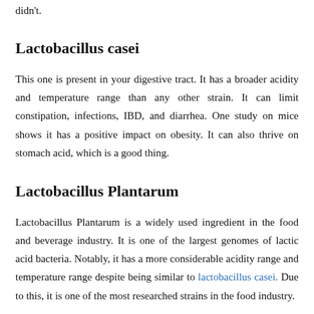didn't.
Lactobacillus casei
This one is present in your digestive tract. It has a broader acidity and temperature range than any other strain. It can limit constipation, infections, IBD, and diarrhea. One study on mice shows it has a positive impact on obesity. It can also thrive on stomach acid, which is a good thing.
Lactobacillus Plantarum
Lactobacillus Plantarum is a widely used ingredient in the food and beverage industry. It is one of the largest genomes of lactic acid bacteria. Notably, it has a more considerable acidity range and temperature range despite being similar to lactobacillus casei. Due to this, it is one of the most researched strains in the food industry.